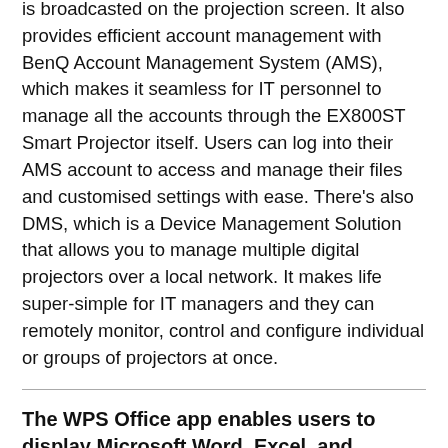is broadcasted on the projection screen. It also provides efficient account management with BenQ Account Management System (AMS), which makes it seamless for IT personnel to manage all the accounts through the EX800ST Smart Projector itself. Users can log into their AMS account to access and manage their files and customised settings with ease. There's also DMS, which is a Device Management Solution that allows you to manage multiple digital projectors over a local network. It makes life super-simple for IT managers and they can remotely monitor, control and configure individual or groups of projectors at once.
The WPS Office app enables users to display Microsoft Word, Excel, and PowerPoint on the EX800ST using USB or built-in storage